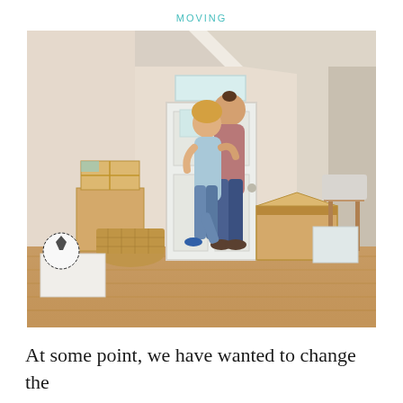MOVING
[Figure (photo): A happy couple embracing near the front door of a new home, surrounded by moving boxes on a hardwood floor. The woman is lifted slightly off the ground, both smiling. Cardboard boxes, a wicker basket, a soccer ball, and storage items are visible around them.]
At some point, we have wanted to change the